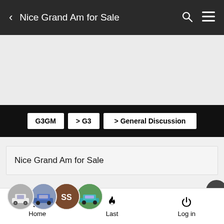Nice Grand Am for Sale
[Figure (screenshot): Advertisement/banner placeholder area (gray background)]
G3GM  > G3  > General Discussion
Nice Grand Am for Sale
4 posters
Home  Last  Log in